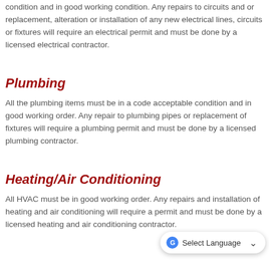All the electrical must be in a code acceptable condition and in good working condition. Any repairs to circuits and or replacement, alteration or installation of any new electrical lines, circuits or fixtures will require an electrical permit and must be done by a licensed electrical contractor.
Plumbing
All the plumbing items must be in a code acceptable condition and in good working order. Any repair to plumbing pipes or replacement of fixtures will require a plumbing permit and must be done by a licensed plumbing contractor.
Heating/Air Conditioning
All HVAC must be in good working order. Any repairs and installation of heating and air conditioning will require a permit and must be done by a licensed heating and air conditioning contractor.